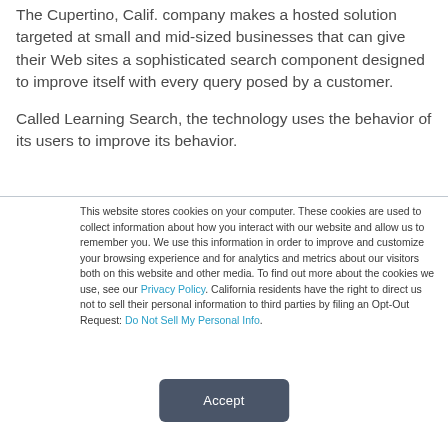The Cupertino, Calif. company makes a hosted solution targeted at small and mid-sized businesses that can give their Web sites a sophisticated search component designed to improve itself with every query posed by a customer.

Called Learning Search, the technology uses the behavior of its users to improve its behavior.
This website stores cookies on your computer. These cookies are used to collect information about how you interact with our website and allow us to remember you. We use this information in order to improve and customize your browsing experience and for analytics and metrics about our visitors both on this website and other media. To find out more about the cookies we use, see our Privacy Policy. California residents have the right to direct us not to sell their personal information to third parties by filing an Opt-Out Request: Do Not Sell My Personal Info.